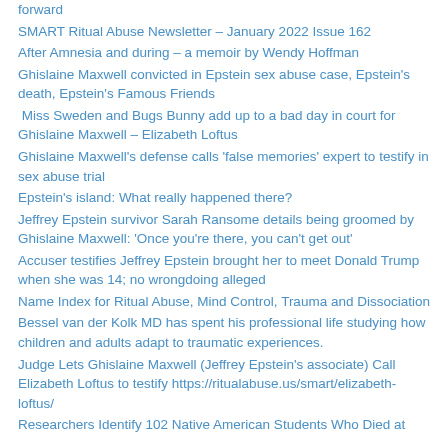forward
SMART Ritual Abuse Newsletter – January 2022 Issue 162
After Amnesia and during – a memoir by Wendy Hoffman
Ghislaine Maxwell convicted in Epstein sex abuse case, Epstein's death, Epstein's Famous Friends
Miss Sweden and Bugs Bunny add up to a bad day in court for Ghislaine Maxwell – Elizabeth Loftus
Ghislaine Maxwell's defense calls 'false memories' expert to testify in sex abuse trial
Epstein's island: What really happened there?
Jeffrey Epstein survivor Sarah Ransome details being groomed by Ghislaine Maxwell: 'Once you're there, you can't get out'
Accuser testifies Jeffrey Epstein brought her to meet Donald Trump when she was 14; no wrongdoing alleged
Name Index for Ritual Abuse, Mind Control, Trauma and Dissociation
Bessel van der Kolk MD has spent his professional life studying how children and adults adapt to traumatic experiences.
Judge Lets Ghislaine Maxwell (Jeffrey Epstein's associate) Call Elizabeth Loftus to testify https://ritualabuse.us/smart/elizabeth-loftus/
Researchers Identify 102 Native American Students Who Died at